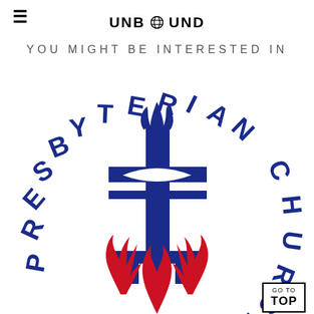UNBOUND
YOU MIGHT BE INTERESTED IN
[Figure (logo): Presbyterian Church (USA) logo — a blue stylized cross with an open book, dove/tulip at top, and three red flames at the base. The words PRESBYTERIAN CHURCH arc around the emblem in blue block letters.]
GO TO TOP